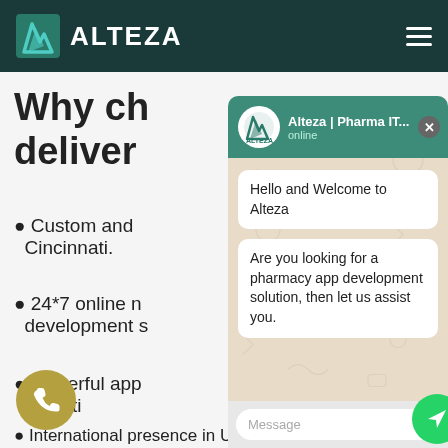ALTEZA
Why ch deliver
Custom and Cincinnati.
24*7 online development s
Powerful app experti
International presence in USA, UK, CANADA,
[Figure (screenshot): WhatsApp chat widget overlay showing Alteza | Pharma IT... chat panel with messages: 'Hello and Welcome to Alteza' and 'Are you looking for a pharmacy app development solution, then let us assist you.' with a message input box at the bottom]